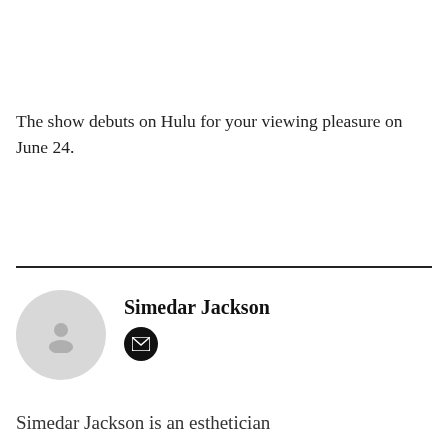The show debuts on Hulu for your viewing pleasure on June 24.
[Figure (other): Horizontal divider line]
Simedar Jackson
[Figure (other): Author avatar placeholder circle with person icon and email button]
Simedar Jackson is an esthetician